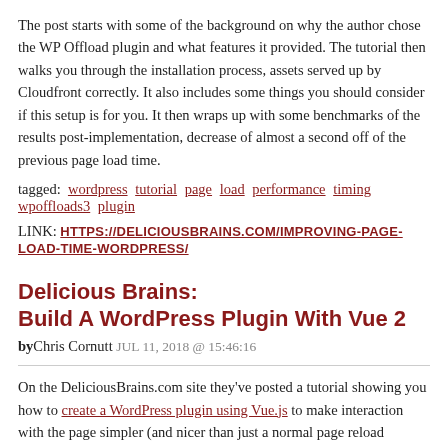The post starts with some of the background on why the author chose the WP Offload plugin and what features it provided. The tutorial then walks you through the installation process, assets served up by Cloudfront correctly. It also includes some things you should consider if this setup is for you. It then wraps up with some benchmarks of the results post-implementation, decrease of almost a second off of the previous page load time.
tagged: wordpress tutorial page load performance timing wpoffloads3 plugin
LINK: HTTPS://DELICIOUSBRAINS.COM/IMPROVING-PAGE-LOAD-TIME-WORDPRESS/
Delicious Brains: Build A WordPress Plugin With Vue 2
byChris Cornutt JUL 11, 2018 @ 15:46:16
On the DeliciousBrains.com site they've posted a tutorial showing you how to create a WordPress plugin using Vue.js to make interaction with the page simpler (and nicer than just a normal page reload)
It's been a while since we've played with Vue JS on this blog, so why don't we take a more focused look at how one might go about building a simple polling plugin for WordPress. Why Vue? Vue can scale up to be used for full-blown single page applications, but you can also use it to add small bits of interactivity to sites, pages, or plugins where in the past you might've used jQuery.
[...] Why a polling plugin? There are scores of polling plugins for WordPress, m